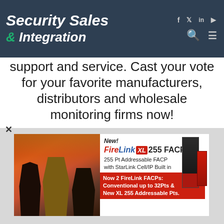Security Sales & Integration — navigation bar with social icons (Facebook, Twitter, LinkedIn, YouTube), search and menu
support and service. Cast your vote for your favorite manufacturers, distributors and wholesale monitoring firms now!
Cast your vote today!
[Figure (advertisement): FireLink XL 255 FACP advertisement banner. Shows firefighters in front of fire on left, product text on right: 'New! FireLink XL 255 FACP, 255 Pt Addressable FACP with StarLink Cell/IP Built in, Now 2 FireLink FACPs: Conventional up to 32Pts & New XL 255 Addressable Pts.']